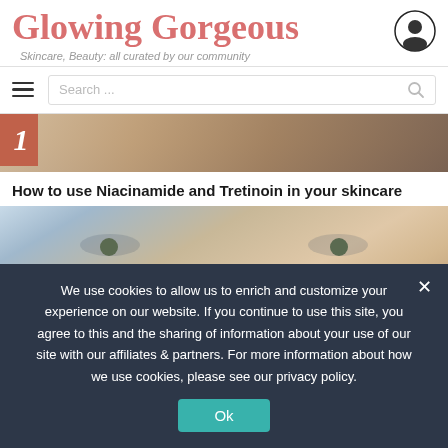Glowing Gorgeous
Skincare, Beauty: all curated by our community
[Figure (screenshot): Navigation bar with hamburger menu icon and search box with placeholder 'Search ...' and magnifying glass icon]
[Figure (photo): Partial photo of a person touching their face/hair, with a red badge showing the number 1]
How to use Niacinamide and Tretinoin in your skincare
[Figure (photo): Close-up photo of a young woman's face showing her eyes and forehead]
We use cookies to allow us to enrich and customize your experience on our website. If you continue to use this site, you agree to this and the sharing of information about your use of our site with our affiliates & partners. For more information about how we use cookies, please see our privacy policy.